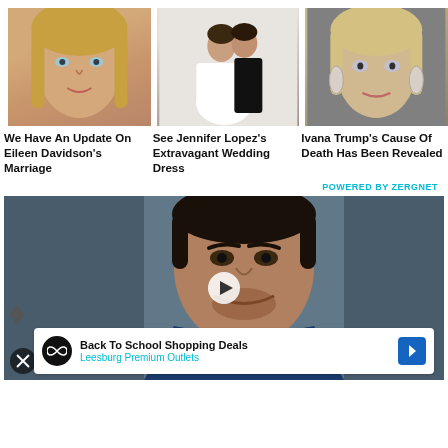[Figure (photo): Photo of Eileen Davidson, blonde woman]
[Figure (photo): Photo of Jennifer Lopez wedding dress, couple kissing]
[Figure (photo): Photo of Ivana Trump, blonde woman]
We Have An Update On Eileen Davidson's Marriage
See Jennifer Lopez's Extravagant Wedding Dress
Ivana Trump's Cause Of Death Has Been Revealed
POWERED BY ZERGNET
[Figure (photo): Video thumbnail of man (Kal Penn) with play button overlay]
Back To School Shopping Deals
Leesburg Premium Outlets